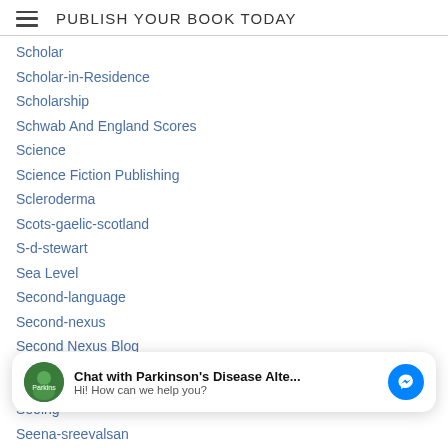PUBLISH YOUR BOOK TODAY
Scholar
Scholar-in-Residence
Scholarship
Schwab And England Scores
Science
Science Fiction Publishing
Scleroderma
Scots-gaelic-scotland
S-d-stewart
Sea Level
Second-language
Second-nexus
Second Nexus Blog
Secret
[Figure (other): Chat widget: avatar image of Parkinson's Disease Alte... with text 'Chat with Parkinson's Disease Alte...' and 'Hi! How can we help you?' and a Messenger icon]
Seeing
Seena-sreevalsan